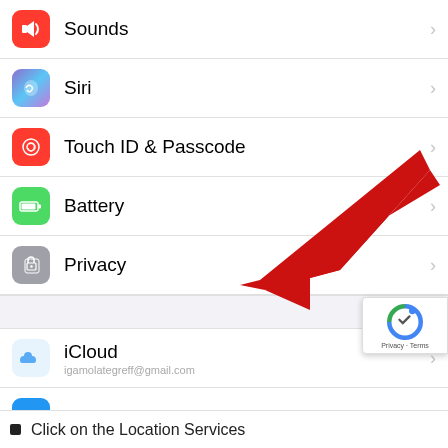[Figure (screenshot): iOS Settings screen showing menu items: Sounds, Siri, Touch ID & Passcode, Battery, Privacy (with red arrow pointing to it), section divider, iCloud (with email), iTunes & App Store, Wallet & Apple Pay, section divider, Mail. A reCAPTCHA badge appears in the bottom right.]
Click on the Location Services